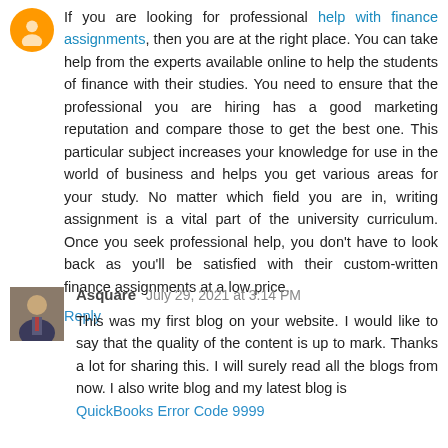If you are looking for professional help with finance assignments, then you are at the right place. You can take help from the experts available online to help the students of finance with their studies. You need to ensure that the professional you are hiring has a good marketing reputation and compare those to get the best one. This particular subject increases your knowledge for use in the world of business and helps you get various areas for your study. No matter which field you are in, writing assignment is a vital part of the university curriculum. Once you seek professional help, you don't have to look back as you'll be satisfied with their custom-written finance assignments at a low price.
Reply
Asquare  July 29, 2021 at 3:14 PM
This was my first blog on your website. I would like to say that the quality of the content is up to mark. Thanks a lot for sharing this. I will surely read all the blogs from now. I also write blog and my latest blog is
QuickBooks Error Code 9999